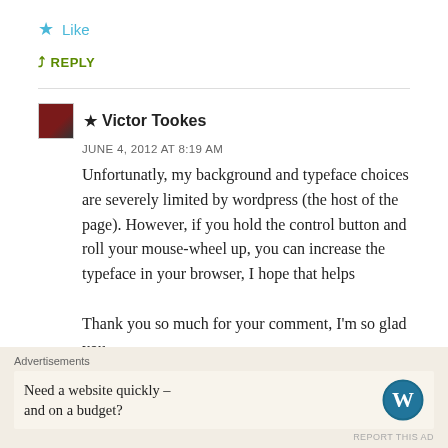★ Like
↳ REPLY
★ Victor Tookes
JUNE 4, 2012 AT 8:19 AM
Unfortunatly, my background and typeface choices are severely limited by wordpress (the host of the page). However, if you hold the control button and roll your mouse-wheel up, you can increase the typeface in your browser, I hope that helps

Thank you so much for your comment, I'm so glad you
Advertisements
Need a website quickly – and on a budget?